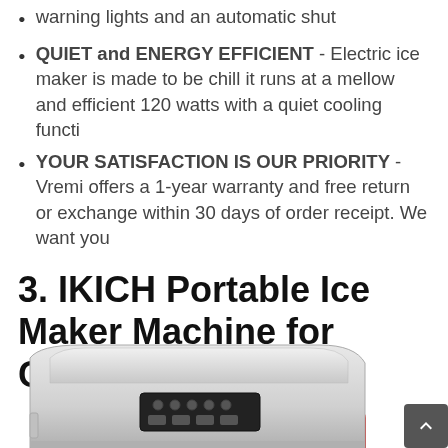warning lights and an automatic shut
QUIET and ENERGY EFFICIENT - Electric ice maker is made to be chill it runs at a mellow and efficient 120 watts with a quiet cooling functi
YOUR SATISFACTION IS OUR PRIORITY - Vremi offers a 1-year warranty and free return or exchange within 30 days of order receipt. We want you
3. IKICH Portable Ice Maker Machine for Countertop
** More Pictures **
[Figure (photo): Bottom portion of a countertop ice maker machine, silver/white color]